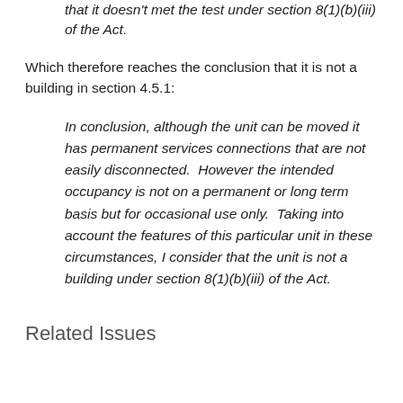that it doesn't met the test under section 8(1)(b)(iii) of the Act.
Which therefore reaches the conclusion that it is not a building in section 4.5.1:
In conclusion, although the unit can be moved it has permanent services connections that are not easily disconnected.  However the intended occupancy is not on a permanent or long term basis but for occasional use only.  Taking into account the features of this particular unit in these circumstances, I consider that the unit is not a building under section 8(1)(b)(iii) of the Act.
Related Issues